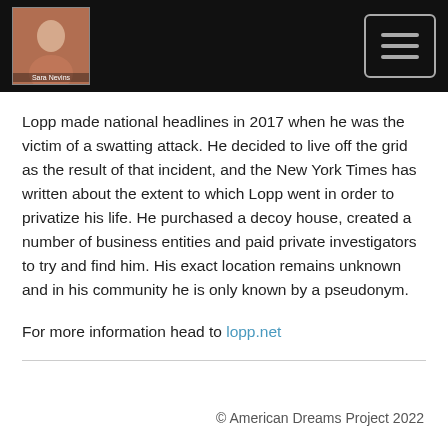[Header with photo and navigation menu button]
Lopp made national headlines in 2017 when he was the victim of a swatting attack. He decided to live off the grid as the result of that incident, and the New York Times has written about the extent to which Lopp went in order to privatize his life. He purchased a decoy house, created a number of business entities and paid private investigators to try and find him. His exact location remains unknown and in his community he is only known by a pseudonym.
For more information head to lopp.net
© American Dreams Project 2022